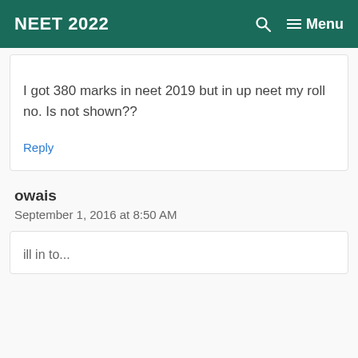NEET 2022  🔍  ☰ Menu
I got 380 marks in neet 2019 but in up neet my roll no. Is not shown??
Reply
owais
September 1, 2016 at 8:50 AM
ill in to... (partial comment text)